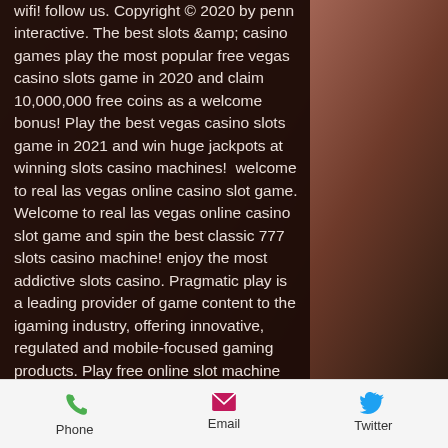wifi! follow us. Copyright © 2020 by penn interactive. The best slots &amp; casino games play the most popular free vegas casino slots game in 2020 and claim 10,000,000 free coins as a welcome bonus! Play the best vegas casino slots game in 2021 and win huge jackpots at winning slots casino machines!  welcome to real las vegas online casino slot game. Welcome to real las vegas online casino slot game and spin the best classic 777 slots casino machine! enjoy the most addictive slots casino. Pragmatic play is a leading provider of game content to the igaming industry, offering innovative, regulated and mobile-focused gaming products. Play free online slot machine games. Free slots no download needed &amp; 100000 free coins. Play for free and join the best casino slots community in the
Phone  Email  Twitter